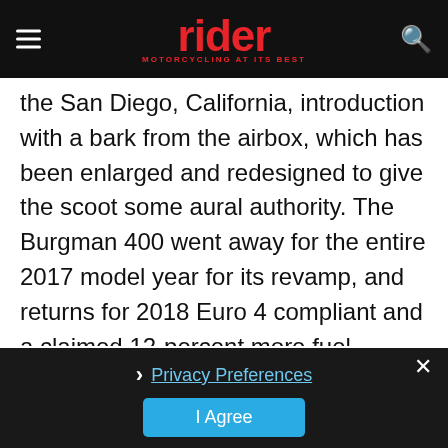rider — MOTORCYCLING AT ITS BEST
the San Diego, California, introduction with a bark from the airbox, which has been enlarged and redesigned to give the scoot some aural authority. The Burgman 400 went away for the entire 2017 model year for its revamp, and returns for 2018 Euro 4 compliant and a claimed 12-percent more fuel efficient. Torque is up down low and the CVT and clutch have been beefed-up for quicker takeoffs from a stop, too.
[Figure (screenshot): Privacy consent overlay with 'Privacy Preferences' link and 'I Agree' button on dark background, with close X button]
Privacy Preferences
I Agree